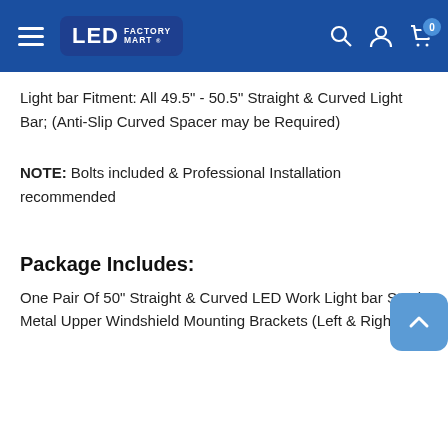LED Factory Mart
Light bar Fitment: All 49.5" - 50.5" Straight & Curved Light Bar; (Anti-Slip Curved Spacer may be Required)
NOTE: Bolts included & Professional Installation recommended
Package Includes:
One Pair Of 50" Straight & Curved LED Work Light bar Steel Metal Upper Windshield Mounting Brackets (Left & Right)